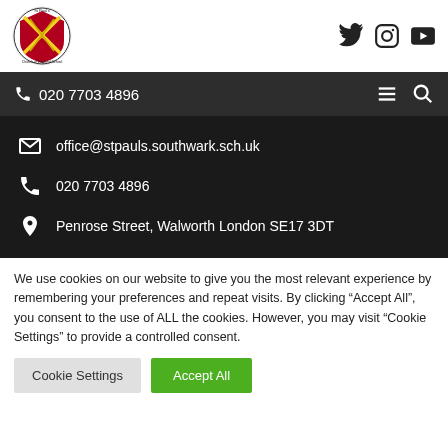[Figure (logo): St Paul's Church of England School circular shield logo with crossed swords]
[Figure (other): Social media icons: Twitter, Instagram, YouTube]
020 7703 4896
office@stpauls.southwark.sch.uk
020 7703 4896
Penrose Street, Walworth London SE17 3DT
We use cookies on our website to give you the most relevant experience by remembering your preferences and repeat visits. By clicking "Accept All", you consent to the use of ALL the cookies. However, you may visit "Cookie Settings" to provide a controlled consent.
Cookie Settings
Accept All